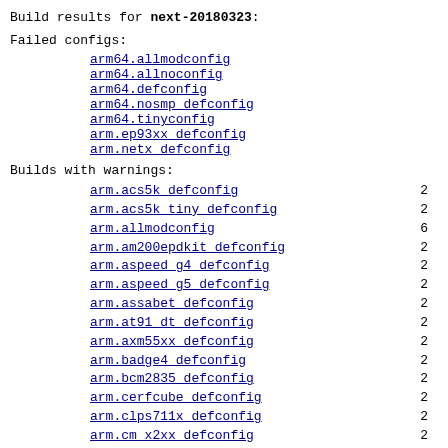Build results for next-20180323:
Failed configs:
arm64.allmodconfig
arm64.allnoconfig
arm64.defconfig
arm64.nosmp_defconfig
arm64.tinyconfig
arm.ep93xx_defconfig
arm.netx_defconfig
Builds with warnings:
arm.acs5k_defconfig 2
arm.acs5k_tiny_defconfig 2
arm.allmodconfig 6
arm.am200epdkit_defconfig 2
arm.aspeed_g4_defconfig 2
arm.aspeed_g5_defconfig 2
arm.assabet_defconfig 2
arm.at91_dt_defconfig 2
arm.axm55xx_defconfig 2
arm.badge4_defconfig 2
arm.bcm2835_defconfig 2
arm.cerfcube_defconfig 2
arm.clps711x_defconfig 2
arm.cm_x2xx_defconfig 2
arm.cm_x300_defconfig 2
arm.cns3420vb_defconfig 2